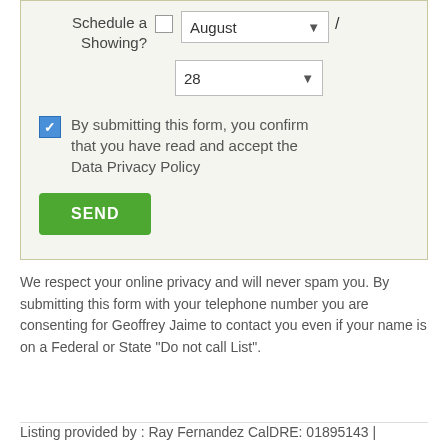[Figure (screenshot): A web form section showing 'Schedule a Showing?' with an unchecked checkbox, a month dropdown set to 'August', a slash, and a day dropdown set to '28'. Below is a checked blue checkbox with privacy policy confirmation text, and a green SEND button.]
We respect your online privacy and will never spam you. By submitting this form with your telephone number you are consenting for Geoffrey Jaime to contact you even if your name is on a Federal or State "Do not call List".
Listing provided by : Ray Fernandez CalDRE: 01895143 | 562.475.5290, NextMove Real Estate
The multiple listing data appearing on this website, or contained in reports produced therefrom, is owned and